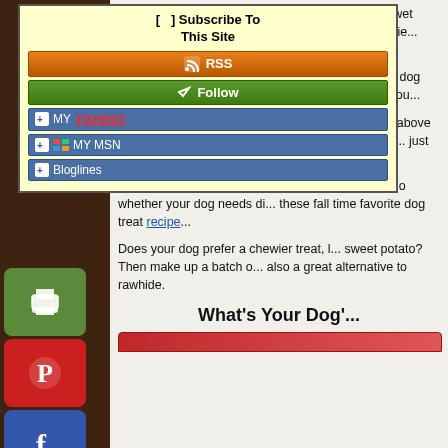[Figure (screenshot): Subscribe To This Site widget with RSS, Follow, MY YAHOO!, MY MSN, and Bloglines buttons on yellow background]
[Figure (infographic): Social share icon buttons on left sidebar: print (green), Pinterest (red), Facebook (blue), email (gray), plus/more (red)]
Potato Masher - I found that using a potato masher to combine the wet ingredients. Po... they will break apart much easie... ingredients.
Baking the Potato - If you prefer sweet potato dog treats. This ma... preparing sweet potatoes for you...
Bundt Pan - Some of you may n... treat I made above is a mini bun... regular or mini muffin pan and th... just as perfect.
Sweet potato dog treats are not only b... yummy! So whether your dog needs di... these fall time favorite dog treat recipe...
Does your dog prefer a chewier treat, l... sweet potato? Then make up a batch o... also a great alternative to rawhide.
What's Your Dog'...